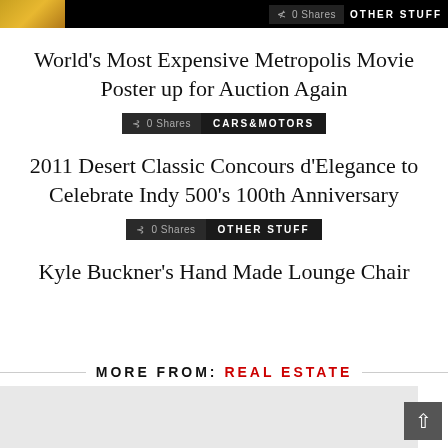0 Shares  OTHER STUFF
World’s Most Expensive Metropolis Movie Poster up for Auction Again
0 Shares  CARS&MOTORS
2011 Desert Classic Concours d’Elegance to Celebrate Indy 500’s 100th Anniversary
0 Shares  OTHER STUFF
Kyle Buckner’s Hand Made Lounge Chair
MORE FROM: REAL ESTATE
[Figure (photo): Gray background area at the bottom of the page, with a back-to-top arrow button on the right]